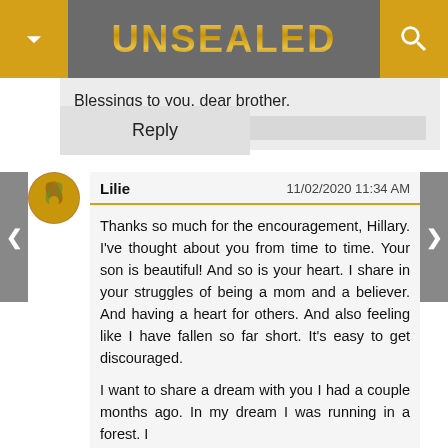UNSEALED
Blessings to you, dear brother.
Reply
Lilie   11/02/2020 11:34 AM
Thanks so much for the encouragement, Hillary. I've thought about you from time to time. Your son is beautiful! And so is your heart. I share in your struggles of being a mom and a believer. And having a heart for others. And also feeling like I have fallen so far short. It's easy to get discouraged.
I want to share a dream with you I had a couple months ago. In my dream I was running in a forest. I